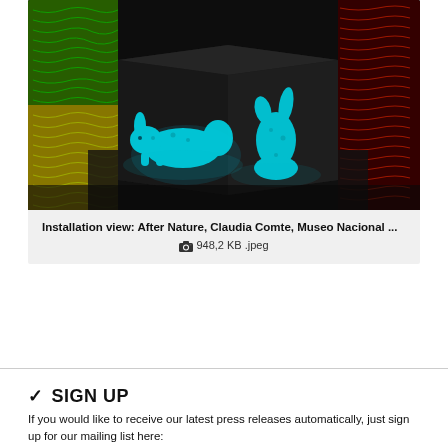[Figure (photo): Installation view showing dark cubic structures with glowing cyan/teal animal sculptures (a rabbit and an abstract figure) displayed on black cube surfaces, with colorful striped light panels in green-yellow and red in the background. Art installation by Claudia Comte.]
Installation view: After Nature, Claudia Comte, Museo Nacional ... 📷 948,2 KB .jpeg
✔ SIGN UP
If you would like to receive our latest press releases automatically, just sign up for our mailing list here: